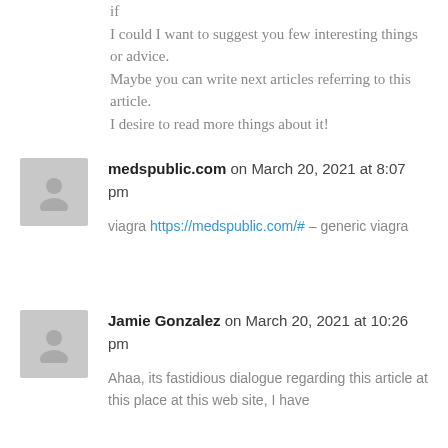if
I could I want to suggest you few interesting things or advice.
Maybe you can write next articles referring to this article.
I desire to read more things about it!
medspublic.com on March 20, 2021 at 8:07 pm
viagra https://medspublic.com/# – generic viagra
Jamie Gonzalez on March 20, 2021 at 10:26 pm
Ahaa, its fastidious dialogue regarding this article at this place at this web site, I have